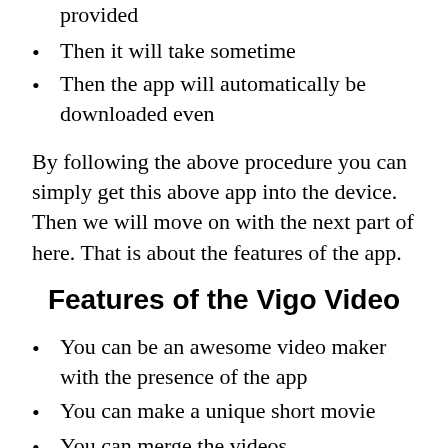provided
Then it will take sometime
Then the app will automatically be downloaded even
By following the above procedure you can simply get this above app into the device. Then we will move on with the next part of here. That is about the features of the app.
Features of the Vigo Video
You can be an awesome video maker with the presence of the app
You can make a unique short movie
You can merge the videos